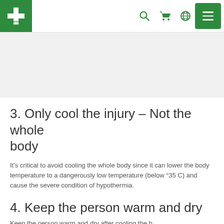Cederroth navigation bar with logo, search, cart, globe, and menu icons
3. Only cool the injury – Not the whole body
It's critical to avoid cooling the whole body since it can lower the body temperature to a dangerously low temperature (below °35 C) and cause the severe condition of hypothermia.
4. Keep the person warm and dry
Keep the person warm and dry after cooling the b...